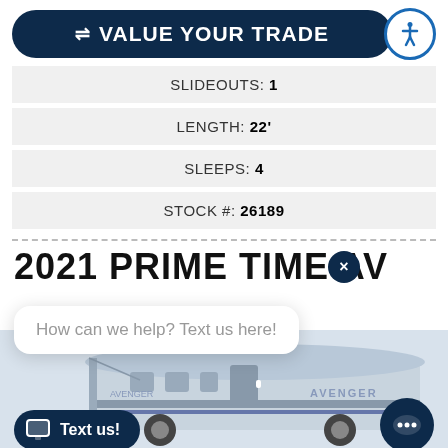⇌ VALUE YOUR TRADE
SLIDEOUTS: 1
LENGTH: 22'
SLEEPS: 4
STOCK #: 26189
2021 PRIME TIME AVENGER
How can we help? Text us here!
Text us!
[Figure (photo): RV travel trailer, white and silver with blue accents, partially visible at the bottom of the page]